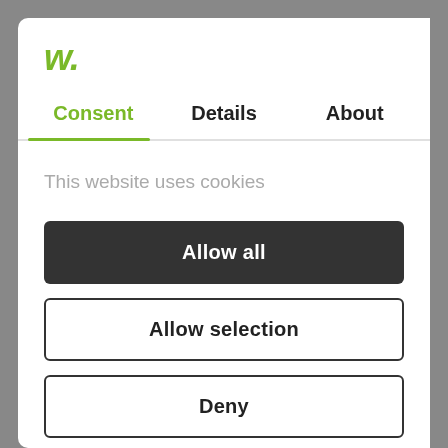[Figure (logo): Green italic 'w.' logo in top left of modal dialog]
Consent | Details | About
This website uses cookies
Allow all
Allow selection
Deny
Powered by Cookiebot by Usercentrics